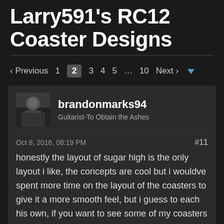Larry591's RC12 Coaster Designs
‹ Previous  1  2  3  4  5  …  10  Next ›
brandonmarks94
Guitarist-To Obtain the Ashes
Oct 8, 2016, 08:19 PM  #11
honestly the layout of sugar high is the only layout i like, the concepts are cool but i wouldve spent more time on the layout of the coasters to give it a more smooth feel, but i guess to each his own, if you want to see some of my coasters (that i spent weeks on btw XD) just look at my page